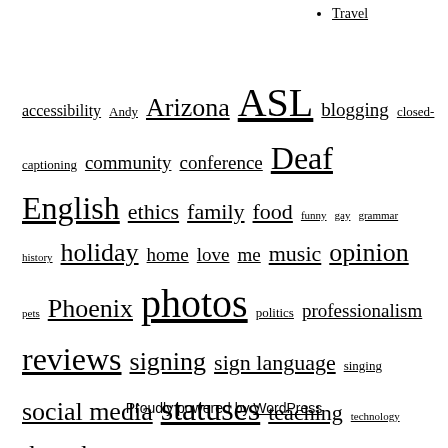Travel
accessibility Andy Arizona ASL blogging closed-captioning community conference Deaf English ethics family food funny gay grammar history holiday home love me music opinion pets Phoenix photos politics professionalism reviews signing sign language singing social media statuses teaching technology thoughts translation tutorials tweets vacation vague language videos workshops writing
Proudly powered by WordPress